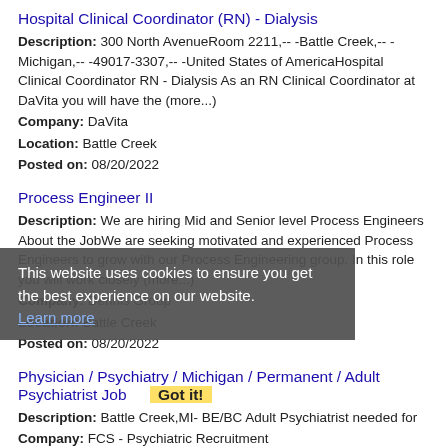Hospital Clinical Coordinator (RN) - Dialysis
Description: 300 North AvenueRoom 2211,-- -Battle Creek,-- -Michigan,-- -49017-3307,-- -United States of AmericaHospital Clinical Coordinator RN - Dialysis As an RN Clinical Coordinator at DaVita you will have the (more...)
Company: DaVita
Location: Battle Creek
Posted on: 08/20/2022
Process Engineer II
Description: We are hiring Mid and Senior level Process Engineers About the JobWe are seeking motivated and experienced Process Engineers to grow with our Process Engineering group. In this role you will work closely (more...)
Company: Dennis Group
Location: Battle Creek
Posted on: 08/20/2022
This website uses cookies to ensure you get the best experience on our website. Learn more
Physician / Psychiatry / Michigan / Permanent / Adult Psychiatrist Job    Got it!
Description: Battle Creek,MI- BE/BC Adult Psychiatrist needed for
Company: FCS - Psychiatric Recruitment
Location: Battle Creek